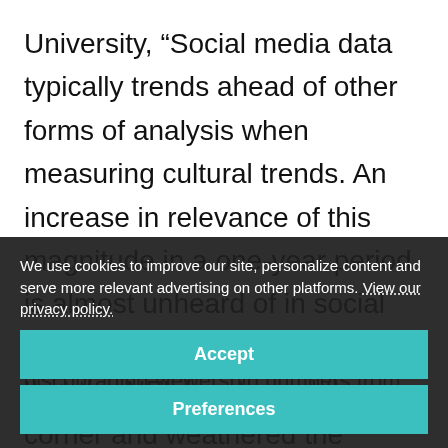University, “Social media data typically trends ahead of other forms of analysis when measuring cultural trends. An increase in relevance of this magnitude in a one-year period is almost unheard of in social data. Thus, we feel confident that the NFL has turned the corner and weathered the storms of the past few years.”
This data is further supported by the discouraging viewership numbers from the beginning of the
We use cookies to improve our site, personalize content and serve more relevant advertising on other platforms. View our privacy policy.